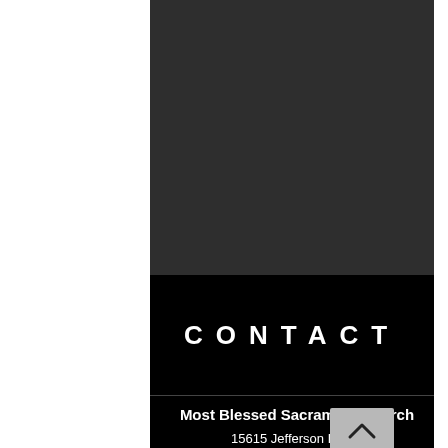[Figure (photo): Dark gray/black background section occupying the upper portion of the page]
CONTACT
Most Blessed Sacrament Church
15615 Jefferson Hwy
Baton Rouge, LA 70817
MMcDowell@MBSBR.org